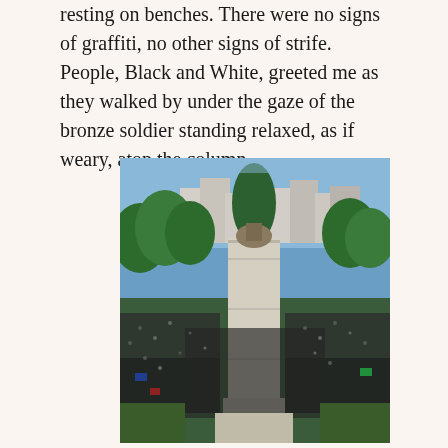resting on benches. There were no signs of graffiti, no other signs of strife. People, Black and White, greeted me as they walked by under the gaze of the bronze soldier standing relaxed, as if weary, atop the column.
[Figure (photo): Aerial view of a large crowd surrounding a tall monument or war memorial column in an urban park setting, with trees and city buildings visible in the background. The crowd appears to be gathered for a protest or demonstration.]